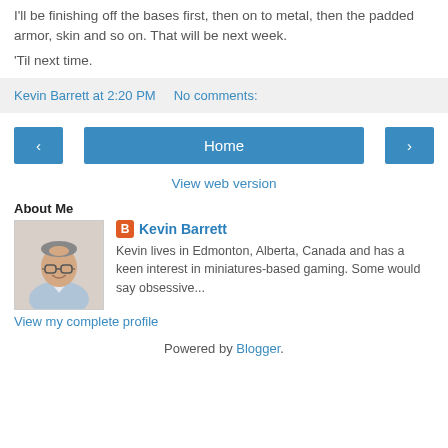I'll be finishing off the bases first, then on to metal, then the padded armor, skin and so on. That will be next week.
'Til next time.
Kevin Barrett at 2:20 PM   No comments:
[Figure (screenshot): Navigation buttons: left arrow, Home, right arrow]
View web version
About Me
[Figure (photo): Photo of Kevin Barrett, a man with glasses and a light shirt, smiling]
Kevin Barrett
Kevin lives in Edmonton, Alberta, Canada and has a keen interest in miniatures-based gaming. Some would say obsessive...
View my complete profile
Powered by Blogger.